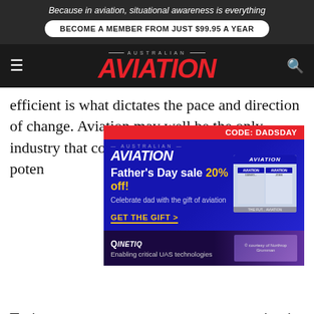Because in aviation, situational awareness is everything
BECOME A MEMBER FROM JUST $99.95 A YEAR
[Figure (logo): Australian Aviation magazine logo with red italic AVIATION text]
efficient is what dictates the pace and direction of change. Aviation may well be the only industry that consciously...al potential..., how much...tolerance...
[Figure (infographic): Father's Day sale advertisement overlay: Australian Aviation magazine - CODE: DADSDAY - Father's Day sale 20% off! Celebrate dad with the gift of aviation - GET THE GIFT >]
[Figure (infographic): QinetiQ advertisement: Enabling critical UAS technologies]
Trying...ing is not a...ndent on safety...elf, it